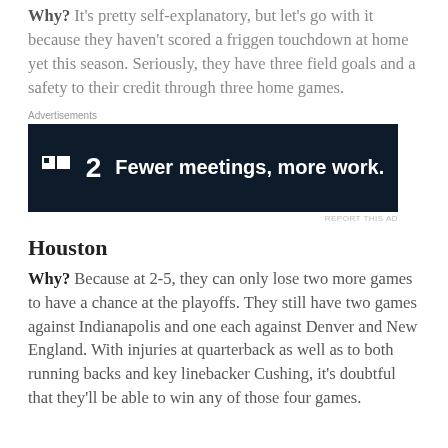Why? It's pretty self-explanatory, but let's go with it because they haven't scored a friggen touchdown at home yet this season. Seriously, they have three field goals and a safety to their credit through three home games.
[Figure (other): Advertisement banner for a product with logo showing a square icon with '2' and text 'Fewer meetings, more work.']
Houston
Why? Because at 2-5, they can only lose two more games to have a chance at the playoffs. They still have two games against Indianapolis and one each against Denver and New England. With injuries at quarterback as well as to both running backs and key linebacker Cushing, it's doubtful that they'll be able to win any of those four games.